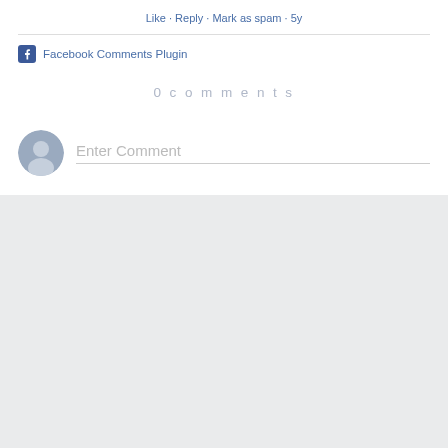Like · Reply · Mark as spam · 5y
[Figure (screenshot): Facebook Comments Plugin row with Facebook logo icon and text 'Facebook Comments Plugin']
0 comments
[Figure (screenshot): Comment input row with generic user avatar and 'Enter Comment' placeholder text field]